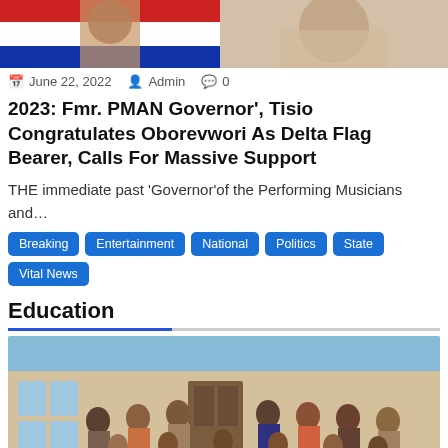[Figure (photo): Two cropped photos side by side: left shows a person with a red, white and blue flag/sash; right shows a person in light clothing]
June 22, 2022   Admin   0
2023: Fmr. PMAN Governor’, Tisio Congratulates Oborevwori As Delta Flag Bearer, Calls For Massive Support
THE immediate past ‘Governor’of the Performing Musicians and…
Breaking
Entertainment
National
Politics
State
Vital News
Education
[Figure (photo): Group photo of approximately 25-30 people including adults and children, posing together outside a building. Some children in front are wearing white t-shirts/bibs.]